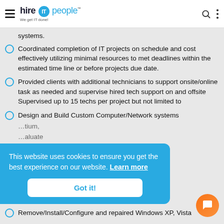hire IT people — We get IT done!
systems.
Coordinated completion of IT projects on schedule and cost effectively utilizing minimal resources to met deadlines within the estimated time line or before projects due date.
Provided clients with additional technicians to support onsite/online task as needed and supervise hired tech support on and offsite Supervised up to 15 techs per project but not limited to
Design and Build Custom Computer/Network systems ...tium,
...aluate
Remove/Install/Configure and repaired Windows XP, Vista
This website uses cookies to ensure you get the best experience on our website. Learn more
Got it!